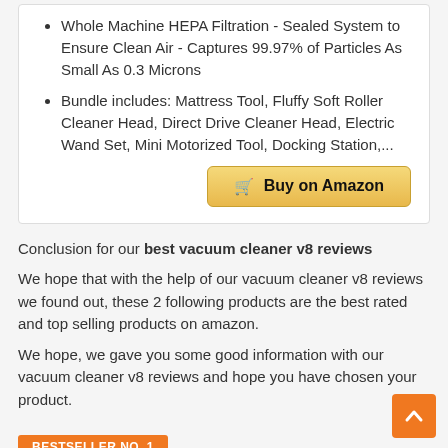Whole Machine HEPA Filtration - Sealed System to Ensure Clean Air - Captures 99.97% of Particles As Small As 0.3 Microns
Bundle includes: Mattress Tool, Fluffy Soft Roller Cleaner Head, Direct Drive Cleaner Head, Electric Wand Set, Mini Motorized Tool, Docking Station,...
Buy on Amazon
Conclusion for our best vacuum cleaner v8 reviews
We hope that with the help of our vacuum cleaner v8 reviews we found out, these 2 following products are the best rated and top selling products on amazon.
We hope, we gave you some good information with our vacuum cleaner v8 reviews and hope you have chosen your product.
BESTSELLER NO. 1
[Figure (photo): Product image placeholder at bottom of page]